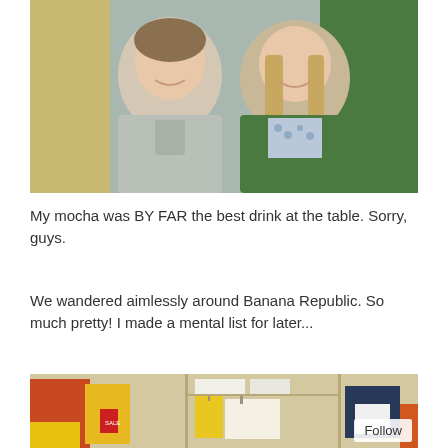[Figure (photo): Two smiling people posing together indoors. Person on left wearing a grey hoodie, person on right wearing a patterned blue/white top with a green cardigan over it.]
My mocha was BY FAR the best drink at the table. Sorry, guys.
We wandered aimlessly around Banana Republic. So much pretty! I made a mental list for later...
[Figure (photo): Interior of a Banana Republic clothing store showing colorful clothing displays, shelves with folded items, and mannequins dressed in various outfits.]